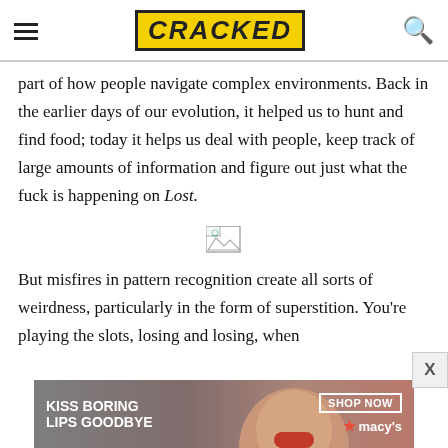CRACKED
part of how people navigate complex environments. Back in the earlier days of our evolution, it helped us to hunt and find food; today it helps us deal with people, keep track of large amounts of information and figure out just what the fuck is happening on Lost.
[Figure (other): Broken image placeholder icon]
But misfires in pattern recognition create all sorts of weirdness, particularly in the form of superstition. You're playing the slots, losing and losing, when
[Figure (other): Advertisement banner: KISS BORING LIPS GOODBYE - SHOP NOW - macy's]